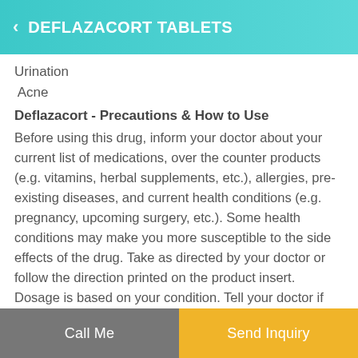DEFLAZACORT TABLETS
Urination
Acne
Deflazacort - Precautions & How to Use
Before using this drug, inform your doctor about your current list of medications, over the counter products (e.g. vitamins, herbal supplements, etc.), allergies, pre-existing diseases, and current health conditions (e.g. pregnancy, upcoming surgery, etc.). Some health conditions may make you more susceptible to the side effects of the drug. Take as directed by your doctor or follow the direction printed on the product insert. Dosage is based on your condition. Tell your doctor if your condition persists or worsens. Important counseling points are listed below.
If you are allergic to it or to any other content in